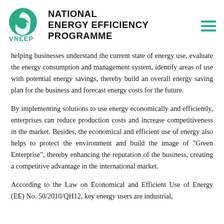NATIONAL ENERGY EFFICIENCY PROGRAMME
helping businesses understand the current state of energy use, evaluate the energy consumption and management system, identify areas of use with potential energy savings, thereby build an overall energy saving plan for the business and forecast energy costs for the future.
By implementing solutions to use energy economically and efficiently, enterprises can reduce production costs and increase competitiveness in the market. Besides, the economical and efficient use of energy also helps to protect the environment and build the image of "Green Enterprise", thereby enhancing the reputation of the business, creating a competitive advantage in the international market.
According to the Law on Economical and Efficient Use of Energy (EE) No. 50/2010/QH12, key energy users are industrial,